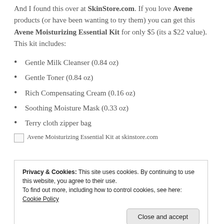And I found this over at SkinStore.com. If you love Avene products (or have been wanting to try them) you can get this Avene Moisturizing Essential Kit for only $5 (its a $22 value). This kit includes:
Gentle Milk Cleanser (0.84 oz)
Gentle Toner (0.84 oz)
Rich Compensating Cream (0.16 oz)
Soothing Moisture Mask (0.33 oz)
Terry cloth zipper bag
[Figure (photo): Broken image placeholder for Avene Moisturizing Essential Kit at skinstore.com]
Privacy & Cookies: This site uses cookies. By continuing to use this website, you agree to their use. To find out more, including how to control cookies, see here: Cookie Policy
Close and accept
Arcons offer: With any $150 purchase...
deluxe sample of Wine Hydrating mask (15 ml). Also